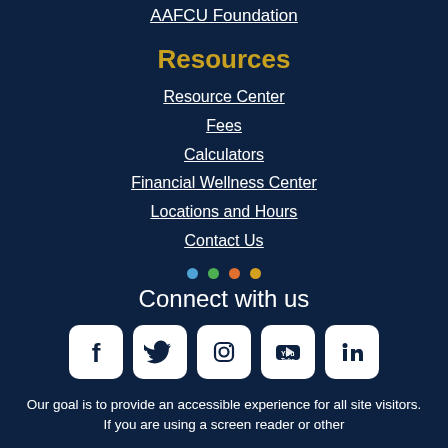AAFCU Foundation
Resources
Resource Center
Fees
Calculators
Financial Wellness Center
Locations and Hours
Contact Us
[Figure (infographic): Four colored dots: blue, green, orange, yellow]
Connect with us
[Figure (infographic): Social media icons: Facebook, Twitter, Instagram, YouTube, LinkedIn]
Our goal is to provide an accessible experience for all site visitors. If you are using a screen reader or other